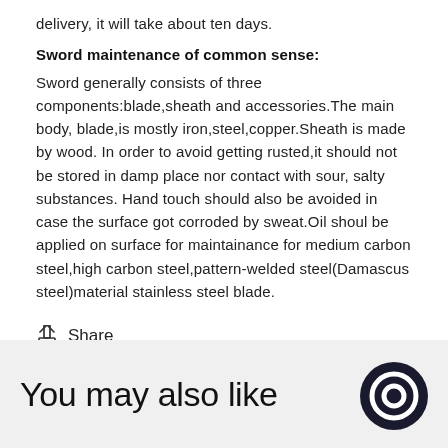delivery, it will take about ten days.
Sword maintenance of common sense:
Sword generally consists of three components:blade,sheath and accessories.The main body, blade,is mostly iron,steel,copper.Sheath is made by wood. In order to avoid getting rusted,it should not be stored in damp place nor contact with sour, salty substances. Hand touch should also be avoided in case the surface got corroded by sweat.Oil shoul be applied on surface for maintainance for medium carbon steel,high carbon steel,pattern-welded steel(Damascus steel)material stainless steel blade.
Share
You may also like